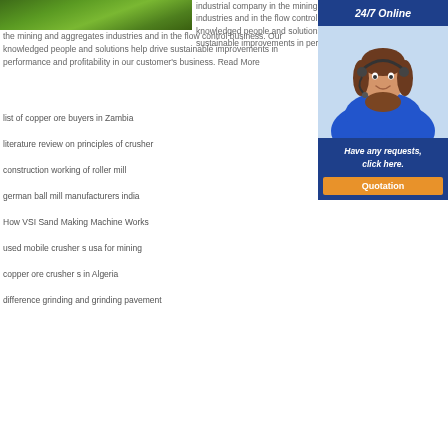[Figure (photo): Aerial/ground photo showing green grass or vegetation area]
industrial company in the mining and aggregates industries and in the flow control business. Our knowledged people and solutions help drive sustainable improvements in performance and profitability in our customer's business. Read More
[Figure (photo): 24/7 Online customer service sidebar with a woman wearing a headset. Has 'Have any requests, click here.' text and a Quotation button.]
list of copper ore buyers in Zambia
literature review on principles of crusher
construction working of roller mill
german ball mill manufacturers india
How VSI Sand Making Machine Works
used mobile crusher s usa for mining
copper ore crusher s in Algeria
difference grinding and grinding pavement